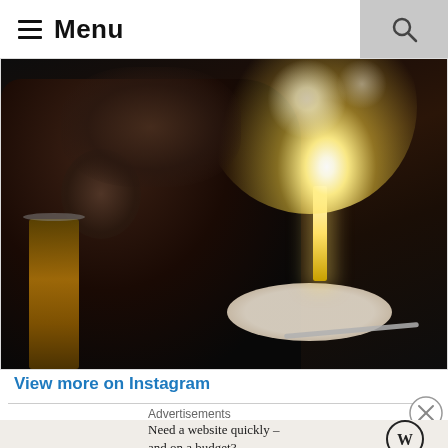≡ Menu
[Figure (photo): A smiling man in a dark restaurant setting, looking at a dessert with a sparkler burning brightly. A glass of amber drink is visible on the left. The scene is dimly lit with the sparkler providing bright light.]
View more on Instagram
Advertisements
Need a website quickly – and on a budget?